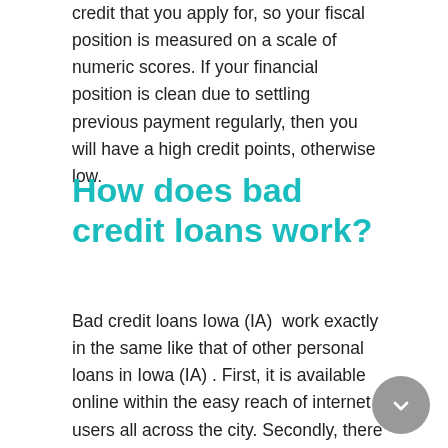credit that you apply for, so your fiscal position is measured on a scale of numeric scores. If your financial position is clean due to settling previous payment regularly, then you will have a high credit points, otherwise low.
How does bad credit loans work?
Bad credit loans Iowa (IA)  work exactly in the same like that of other personal loans in Iowa (IA) . First, it is available online within the easy reach of internet users all across the city. Secondly, there may be may not be having the hassle of credit check that actually depends on your financial condition. Thirdly, and most importantly is getting the loan amount on the very same day after the